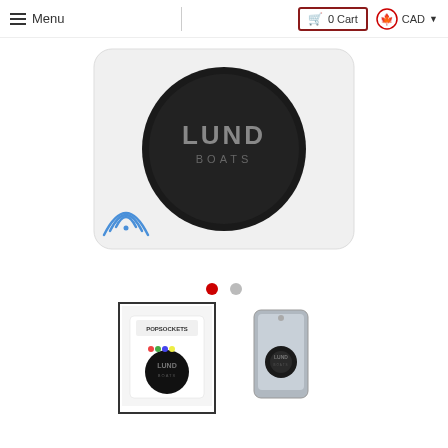Menu  |  0 Cart  CAD
[Figure (photo): Lund Boats branded PopSocket/PopGrip shown on white rectangular pad with NFC/wireless icon in corner. The device is a round black disc with LUND BOATS logo in silver text.]
[Figure (photo): Thumbnail 1 (selected): Lund Boats PopSocket on retail packaging card showing PopSockets branding.]
[Figure (photo): Thumbnail 2: Lund Boats PopSocket mounted on back of a gray smartphone, expanded/popped out position.]